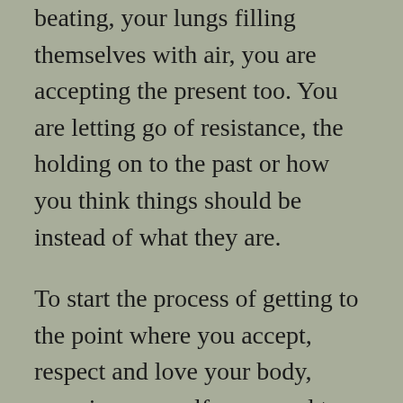beating, your lungs filling themselves with air, you are accepting the present too. You are letting go of resistance, the holding on to the past or how you think things should be instead of what they are.
To start the process of getting to the point where you accept, respect and love your body, meaning yourself, you need to take it in steps. It is a process and you cannot expect yourself to make it all in one go.
Begin with respect that fact that your body has needs and you cannot neglect these needs. In this sense your body is like a child you need to take care of and you are the only parent it has.